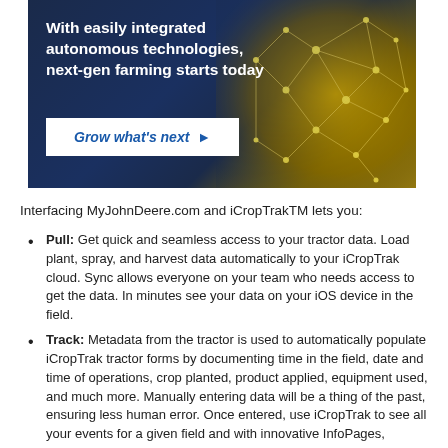[Figure (illustration): Dark blue and gold advertisement banner with text 'With easily integrated autonomous technologies, next-gen farming starts today' and a 'Grow what's next' button, with a golden network/mesh graphic on the right side]
Interfacing MyJohnDeere.com and iCropTrakTM lets you:
Pull: Get quick and seamless access to your tractor data. Load plant, spray, and harvest data automatically to your iCropTrak cloud. Sync allows everyone on your team who needs access to get the data. In minutes see your data on your iOS device in the field.
Track: Metadata from the tractor is used to automatically populate iCropTrak tractor forms by documenting time in the field, date and time of operations, crop planted, product applied, equipment used, and much more. Manually entering data will be a thing of the past, ensuring less human error. Once entered, use iCropTrak to see all your events for a given field and with innovative InfoPages,